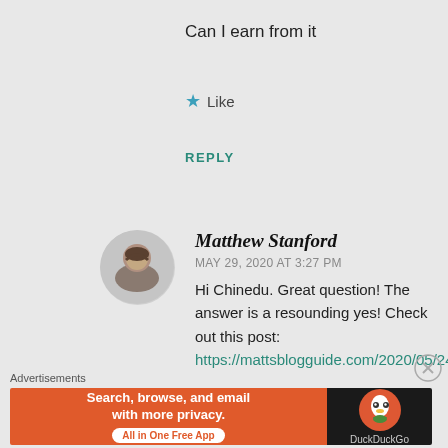Can I earn from it
★ Like
REPLY
Matthew Stanford
MAY 29, 2020 AT 3:27 PM
Hi Chinedu. Great question! The answer is a resounding yes! Check out this post: https://mattsblogguide.com/2020/05/24/
Advertisements
[Figure (infographic): DuckDuckGo advertisement banner: orange left side with text 'Search, browse, and email with more privacy. All in One Free App' and dark right side with DuckDuckGo logo]